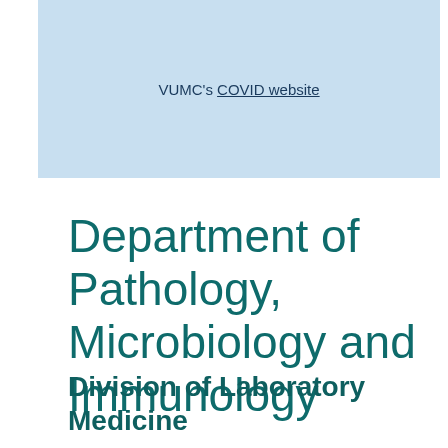VUMC's COVID website
Department of Pathology, Microbiology and Immunology
Division of Laboratory Medicine